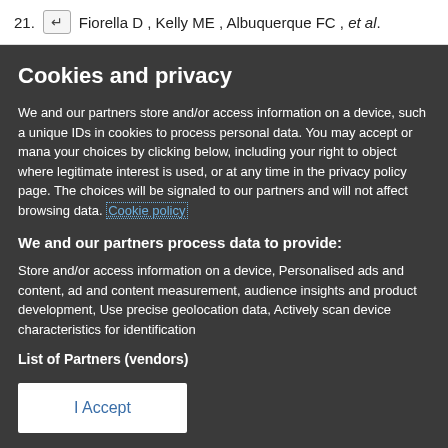21. ↵ Fiorella D , Kelly ME , Albuquerque FC , et al.
Cookies and privacy
We and our partners store and/or access information on a device, such as unique IDs in cookies to process personal data. You may accept or manage your choices by clicking below, including your right to object where legitimate interest is used, or at any time in the privacy policy page. These choices will be signaled to our partners and will not affect browsing data. Cookie policy
We and our partners process data to provide:
Store and/or access information on a device, Personalised ads and content, ad and content measurement, audience insights and product development, Use precise geolocation data, Actively scan device characteristics for identification
List of Partners (vendors)
I Accept